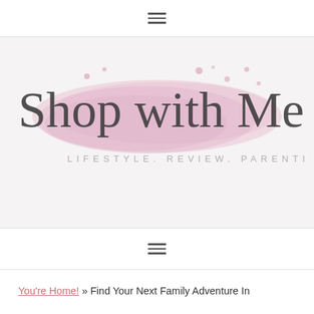≡
[Figure (logo): Shop with Me Mama blog logo with cursive script text on pink watercolor brushstroke background, subtitle: LIFESTYLE. REVIEW. PARENTING]
≡
You're Home! » Find Your Next Family Adventure In